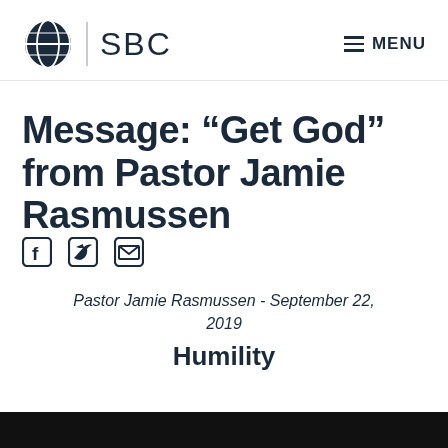SBC | MENU
Message: “Get God” from Pastor Jamie Rasmussen
[Figure (other): Social share icons: Facebook, Twitter, Email]
Pastor Jamie Rasmussen - September 22, 2019
Humility
[Figure (other): Black bar / video thumbnail strip at the bottom of the page]